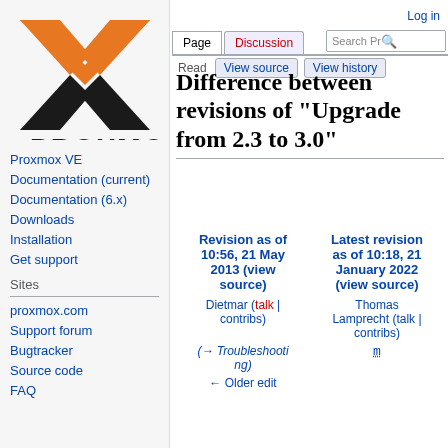Log in
[Figure (logo): Proxmox logo: orange and black X mark above the word PROXMOX in black]
Proxmox VE
Documentation (current)
Documentation (6.x)
Downloads
Installation
Get support
Sites
proxmox.com
Support forum
Bugtracker
Source code
FAQ
Difference between revisions of "Upgrade from 2.3 to 3.0"
| Revision as of 10:56, 21 May 2013 (view source) | Latest revision as of 10:18, 21 January 2022 (view source) |
| --- | --- |
| Dietmar (talk | contribs) | Thomas Lamprecht (talk | contribs) |
| (→ Troubleshooting) | m |
| ← Older edit |  |